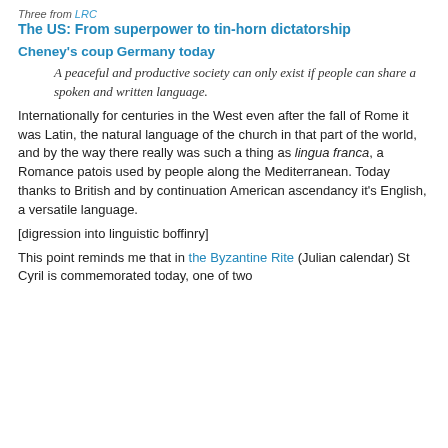Three from LRC
The US: From superpower to tin-horn dictatorship
Cheney's coup
Germany today
A peaceful and productive society can only exist if people can share a spoken and written language.
Internationally for centuries in the West even after the fall of Rome it was Latin, the natural language of the church in that part of the world, and by the way there really was such a thing as lingua franca, a Romance patois used by people along the Mediterranean. Today thanks to British and by continuation American ascendancy it's English, a versatile language.
[digression into linguistic boffinry]
This point reminds me that in the Byzantine Rite (Julian calendar) St Cyril is commemorated today, one of two